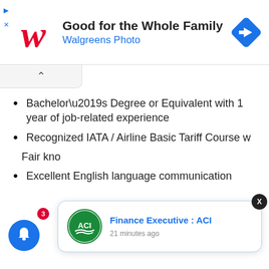[Figure (logo): Walgreens script W logo in red]
Good for the Whole Family
Walgreens Photo
[Figure (illustration): Blue diamond navigation/directions icon with white arrow]
Bachelor’s Degree or Equivalent with 1 year of job-related experience
Recognized IATA / Airline Basic Tariff Course w[...partially obscured]
Fair kno[...partially obscured by notification popup]
Excellent English language communication
[Figure (logo): ACI logo — green oval with ACI text and wave lines]
Finance Executive : ACI
21 minutes ago